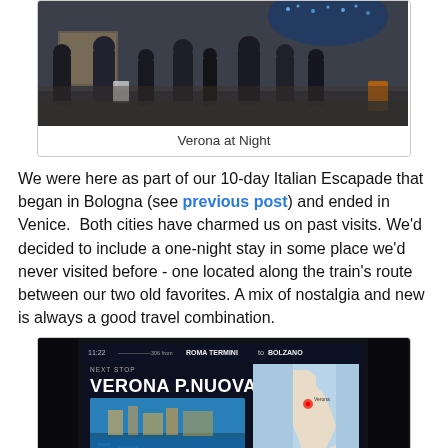[Figure (photo): Crowd of people at night in Verona, Christmas lights in background]
Verona at Night
We were here as part of our 10-day Italian Escapade that began in Bologna (see previous post) and ended in Venice.  Both cities have charmed us on past visits. We'd decided to include a one-night stay in some place we'd never visited before - one located along the train's route between our two old favorites. A mix of nostalgia and new is always a good travel combination.
[Figure (photo): Train screen showing next stop VERONA P.NUOVA, map of Italy with location marked, speed 66 Km/h, news ticker CON 43 MILIONI DOLLARI UN PRIVATO BATT]